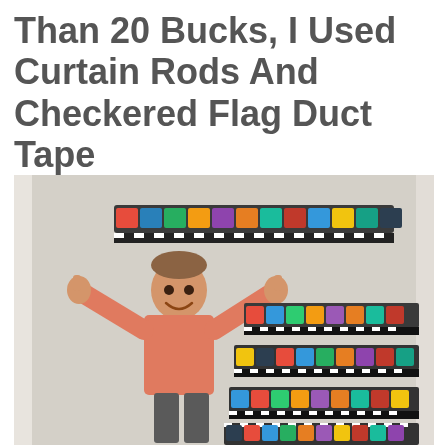Than 20 Bucks, I Used Curtain Rods And Checkered Flag Duct Tape
[Figure (photo): A young toddler boy giving two thumbs up, standing in front of a door-mounted Hot Wheels toy car storage rack made with curtain rods decorated with checkered flag duct tape. The rack holds many colorful toy cars arranged in rows.]